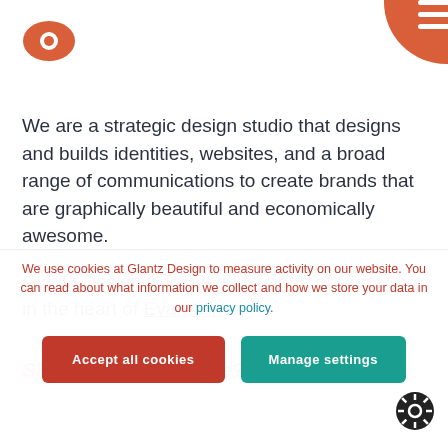[Figure (logo): Glantz Design eye logo in orange/red, top left]
[Figure (other): Orange circle with three white horizontal lines (hamburger menu) in top right corner]
We are a strategic design studio that designs and builds identities, websites, and a broad range of communications to create brands that are graphically beautiful and economically awesome.
Glantz Design is located just north of Chicago in the heart of Evanston.
Shall we play a game?
We use cookies at Glantz Design to measure activity on our website. You can read about what information we collect and how we store your data in our privacy policy.